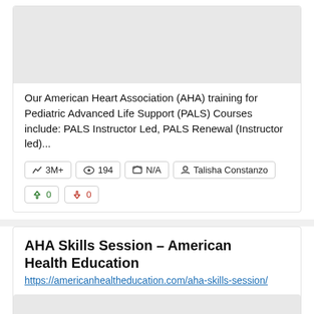[Figure (photo): Gray image placeholder at top of first card]
Our American Heart Association (AHA) training for Pediatric Advanced Life Support (PALS) Courses include: PALS Instructor Led, PALS Renewal (Instructor led)...
3M+  194  N/A  Talisha Constanzo
0  0
AHA Skills Session – American Health Education
https://americanhealtheducation.com/aha-skills-session/
[Figure (photo): Gray image placeholder at bottom of second card]